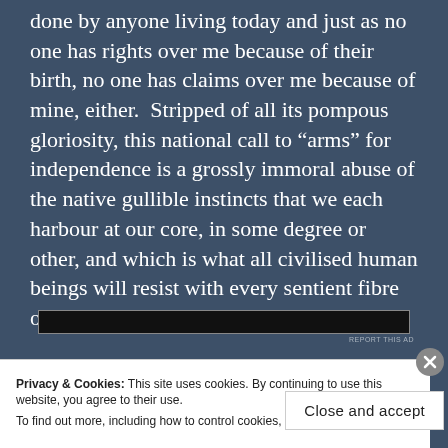done by anyone living today and just as no one has rights over me because of their birth, no one has claims over me because of mine, either.  Stripped of all its pompous gloriosity, this national call to "arms" for independence is a grossly immoral abuse of the native gullible instincts that we each harbour at our core, in some degree or other, and which is what all civilised human beings will resist with every sentient fibre of their reason and being.
[Figure (other): Advertisement bar (dark rectangle) with 'REPORT THIS AD' text below it]
Privacy & Cookies: This site uses cookies. By continuing to use this website, you agree to their use.
To find out more, including how to control cookies, see here: Cookie Policy
Close and accept